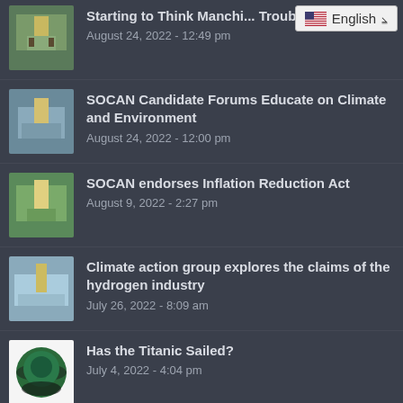Starting to Think Manchi... Trouble
August 24, 2022 - 12:49 pm
[Figure (other): Language selector dropdown showing English with US flag]
SOCAN Candidate Forums Educate on Climate and Environment
August 24, 2022 - 12:00 pm
SOCAN endorses Inflation Reduction Act
August 9, 2022 - 2:27 pm
Climate action group explores the claims of the hydrogen industry
July 26, 2022 - 8:09 am
Has the Titanic Sailed?
July 4, 2022 - 4:04 pm
Space Tourism Poses a Significant 'Risk to the Climate'
July 3, 2022 - 11:51 am
Climate Spotlight: Our house is on fire